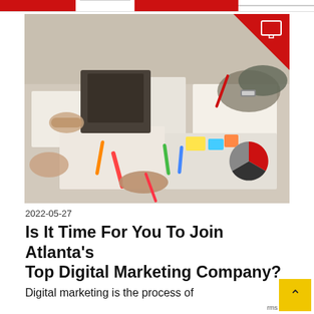[Figure (photo): Overhead view of a marketing/creative team working at a table covered with papers, photos, markers, and design materials. Hands visible holding pens and materials. Red triangle accent in top-right corner with a screen/monitor icon.]
2022-05-27
Is It Time For You To Join Atlanta's Top Digital Marketing Company?
Digital marketing is the process of